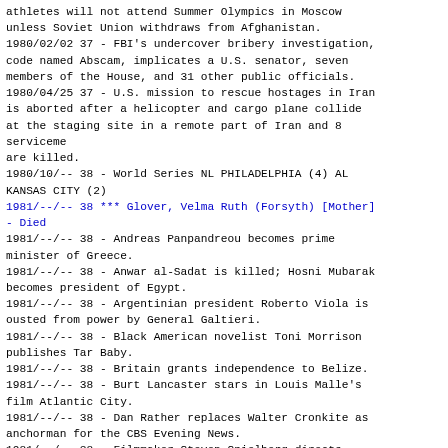athletes will not attend Summer Olympics in Moscow unless Soviet Union withdraws from Afghanistan.
1980/02/02 37 - FBI's undercover bribery investigation, code named Abscam, implicates a U.S. senator, seven members of the House, and 31 other public officials.
1980/04/25 37 - U.S. mission to rescue hostages in Iran is aborted after a helicopter and cargo plane collide at the staging site in a remote part of Iran and 8 serviceme are killed.
1980/10/-- 38 - World Series NL PHILADELPHIA (4) AL KANSAS CITY (2)
1981/--/-- 38 *** Glover, Velma Ruth (Forsyth) [Mother] - Died
1981/--/-- 38 - Andreas Panpandreou becomes prime minister of Greece.
1981/--/-- 38 - Anwar al-Sadat is killed; Hosni Mubarak becomes president of Egypt.
1981/--/-- 38 - Argentinian president Roberto Viola is ousted from power by General Galtieri.
1981/--/-- 38 - Black American novelist Toni Morrison publishes Tar Baby.
1981/--/-- 38 - Britain grants independence to Belize.
1981/--/-- 38 - Burt Lancaster stars in Louis Malle's film Atlantic City.
1981/--/-- 38 - Dan Rather replaces Walter Cronkite as anchorman for the CBS Evening News.
1981/--/-- 38 - Filmmaker Steven Spielberg directs Raiders of the Lost Ark.
1981/--/-- 38 - Francois Mitterand succeeds Valery